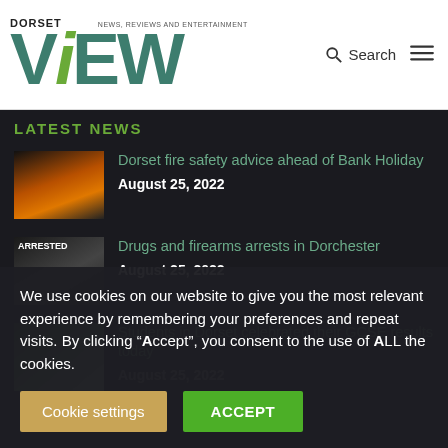DORSET VIEW — NEWS, REVIEWS AND ENTERTAINMENT
LATEST NEWS
Dorset fire safety advice ahead of Bank Holiday — August 25, 2022
Drugs and firearms arrests in Dorchester — August 25, 2022
Students in Dorset celebrated their GCSE results today — August 25, 2022
We use cookies on our website to give you the most relevant experience by remembering your preferences and repeat visits. By clicking “Accept”, you consent to the use of ALL the cookies.